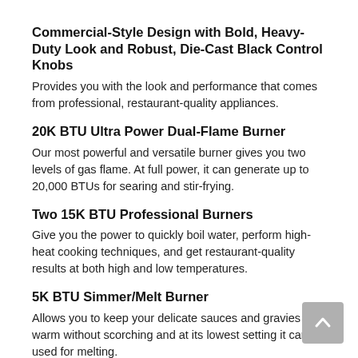Commercial-Style Design with Bold, Heavy-Duty Look and Robust, Die-Cast Black Control Knobs
Provides you with the look and performance that comes from professional, restaurant-quality appliances.
20K BTU Ultra Power Dual-Flame Burner
Our most powerful and versatile burner gives you two levels of gas flame. At full power, it can generate up to 20,000 BTUs for searing and stir-frying.
Two 15K BTU Professional Burners
Give you the power to quickly boil water, perform high-heat cooking techniques, and get restaurant-quality results at both high and low temperatures.
5K BTU Simmer/Melt Burner
Allows you to keep your delicate sauces and gravies warm without scorching and at its lowest setting it can be used for melting.
Continuous Surface with Heavy-Duty Grates